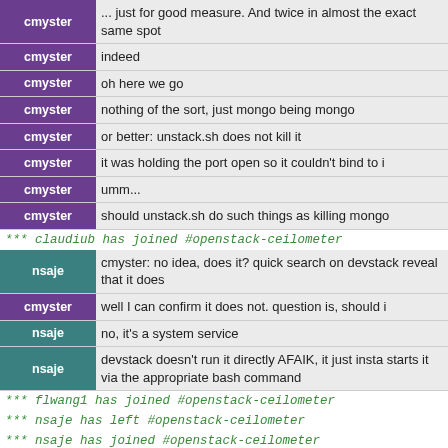cmyster: exact same spot
cmyster: indeed
cmyster: oh here we go
cmyster: nothing of the sort, just mongo being mongo
cmyster: or better: unstack.sh does not kill it
cmyster: it was holding the port open so it couldn't bind to i
cmyster: umm...
cmyster: should unstack.sh do such things as killing mongo
*** claudiub has joined #openstack-ceilometer
nsaje: cmyster: no idea, does it? quick search on devstack reveal that it does
cmyster: well I can confirm it does not. question is, should i
nsaje: no, it's a system service
nsaje: devstack doesn't run it directly AFAIK, it just insta starts it via the appropriate bash command
*** flwang1 has joined #openstack-ceilometer
*** nsaje has left #openstack-ceilometer
*** nsaje has joined #openstack-ceilometer
*** cdent has joined #openstack-ceilometer
eglynn_: cdent: quick question, any IRC response from sdag about the grenade patch?